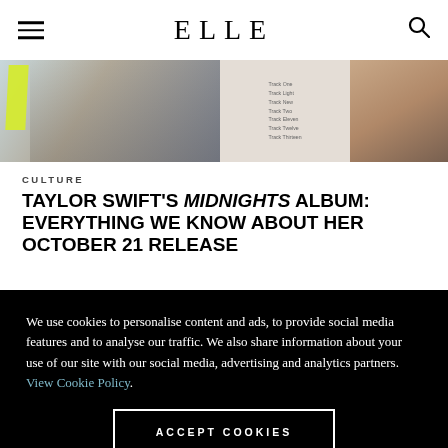ELLE
[Figure (photo): Hero image strip showing Taylor Swift in a sequined outfit on the left, a tracklist panel in the center, and a close-up portrait on the right]
CULTURE
TAYLOR SWIFT'S MIDNIGHTS ALBUM: EVERYTHING WE KNOW ABOUT HER OCTOBER 21 RELEASE
We use cookies to personalise content and ads, to provide social media features and to analyse our traffic. We also share information about your use of our site with our social media, advertising and analytics partners. View Cookie Policy.
ACCEPT COOKIES